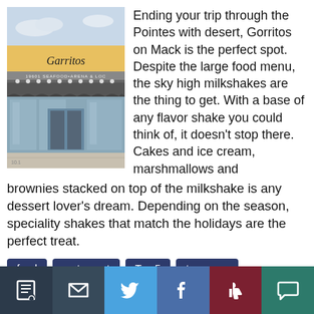[Figure (photo): Exterior photo of Gorritos on Mack restaurant storefront with signage reading 'Gorritos' and 'SEAFOOD•ARENA' visible, gray awning, glass doors, sidewalk in foreground.]
Ending your trip through the Pointes with desert, Gorritos on Mack is the perfect spot. Despite the large food menu, the sky high milkshakes are the thing to get. With a base of any flavor shake you could think of, it doesn't stop there. Cakes and ice cream, marshmallows and brownies stacked on top of the milkshake is any dessert lover's dream. Depending on the season, speciality shakes that match the holidays are the perfect treat.
food
restaurant
Top 5
towergps